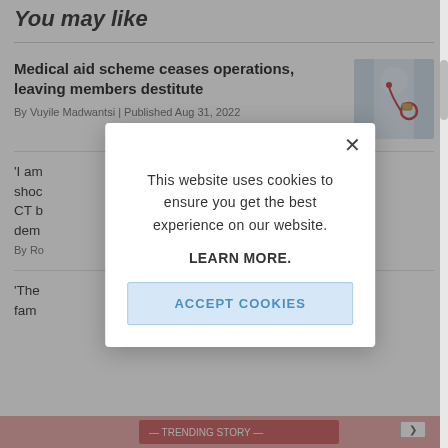You may like
Medical aid scheme ceases operations, leaving members destitute
By Vuyile Madwantsi | Published Aug 31, 2022
[Figure (photo): Photo of a person in white coat holding a stethoscope and watch]
'I am shocked CT b dem
By Ro
'The fam
[Figure (screenshot): Cookie consent modal: 'This website uses cookies to ensure you get the best experience on our website. LEARN MORE. ACCEPT COOKIES']